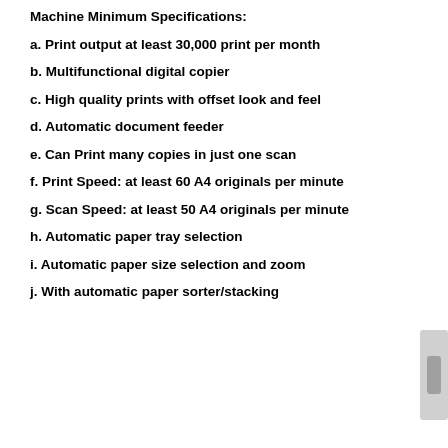Machine Minimum Specifications:
a. Print output at least 30,000 print per month
b. Multifunctional digital copier
c. High quality prints with offset look and feel
d. Automatic document feeder
e. Can Print many copies in just one scan
f. Print Speed: at least 60 A4 originals per minute
g. Scan Speed: at least 50 A4 originals per minute
h. Automatic paper tray selection
i. Automatic paper size selection and zoom
j. With automatic paper sorter/stacking